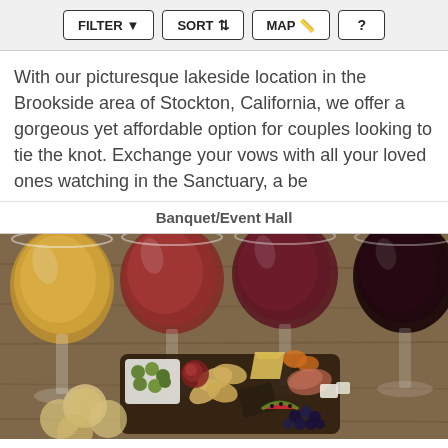FILTER | SORT | MAP | ?
With our picturesque lakeside location in the Brookside area of Stockton, California, we offer a gorgeous yet affordable option for couples looking to tie the knot. Exchange your vows with all your loved ones watching in the Sanctuary, a be
Banquet/Event Hall
[Figure (photo): Four wine glasses with wines ranging from white/golden to dark red, with a charcuterie board featuring olives, chips, cheese, salami, fruits, and crackers on a wooden table]
Murphy's Hideout